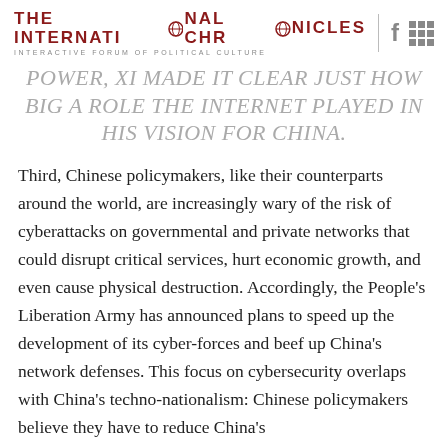THE INTERNATIONAL CHRONICLES | INTERACTIVE FORUM OF POLITICAL CULTURE
POWER, XI MADE IT CLEAR JUST HOW BIG A ROLE THE INTERNET PLAYED IN HIS VISION FOR CHINA.
Third, Chinese policymakers, like their counterparts around the world, are increasingly wary of the risk of cyberattacks on governmental and private networks that could disrupt critical services, hurt economic growth, and even cause physical destruction. Accordingly, the People's Liberation Army has announced plans to speed up the development of its cyber-forces and beef up China's network defenses. This focus on cybersecurity overlaps with China's techno-nationalism: Chinese policymakers believe they have to reduce China's